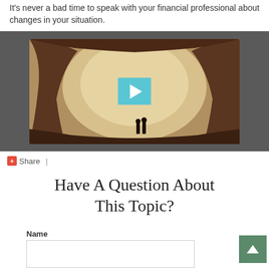It's never a bad time to speak with your financial professional about changes in your situation.
[Figure (screenshot): Video thumbnail showing two silhouetted people standing inside a cave arch opening with sky visible, with a teal play button overlay in the center.]
Share |
Have A Question About This Topic?
Name